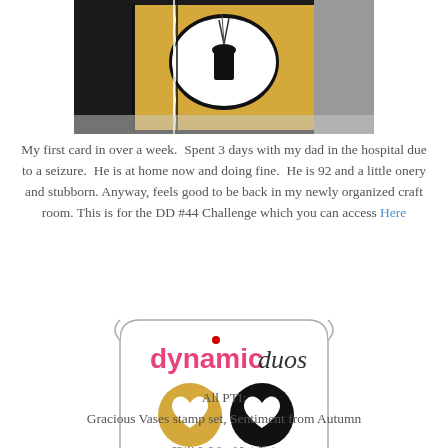[Figure (photo): A handmade greeting card on a yellow/golden background with a black oval frame containing a white silhouette of a vase, decorated with a black and white twisted ribbon/twine on the left side.]
My first card in over a week.  Spent 3 days with my dad in the hospital due to a seizure.  He is at home now and doing fine.  He is 92 and a little onery and stubborn. Anyway, feels good to be back in my newly organized craft room. This is for the DD #44 Challenge which you can access Here
[Figure (logo): Dynamic Duos logo badge with decorative border. Pink text 'dynamic' and cursive black 'duos'. A yellow circle with white heart and a black circle with white heart. Text below: DD#44: So Saffron & Basic Black, Dessert Option: Ribbon, www.thedynamicduoschallenge.blogspot.com]
All PTI: Gracious Vases stamp set, Sentiment from Autumn